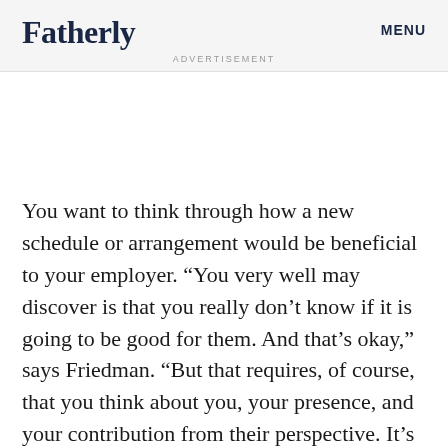Fatherly   ADVERTISEMENT   MENU
You want to think through how a new schedule or arrangement would be beneficial to your employer. “You very well may discover is that you really don’t know if it is going to be good for them. And that’s okay,” says Friedman. “But that requires, of course, that you think about you, your presence, and your contribution from their perspective. It’s essential.”